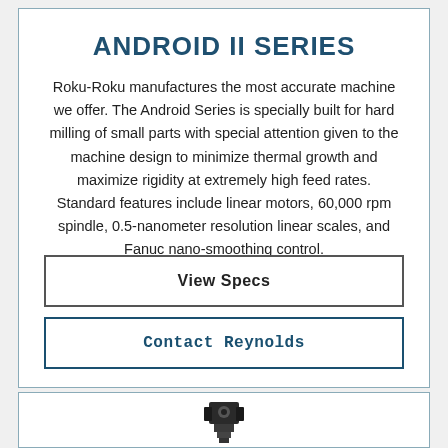ANDROID II SERIES
Roku-Roku manufactures the most accurate machine we offer. The Android Series is specially built for hard milling of small parts with special attention given to the machine design to minimize thermal growth and maximize rigidity at extremely high feed rates. Standard features include linear motors, 60,000 rpm spindle, 0.5-nanometer resolution linear scales, and Fanuc nano-smoothing control.
View Specs
Contact Reynolds
[Figure (photo): Partial view of a machine tool or CNC machine component at the bottom of the page]